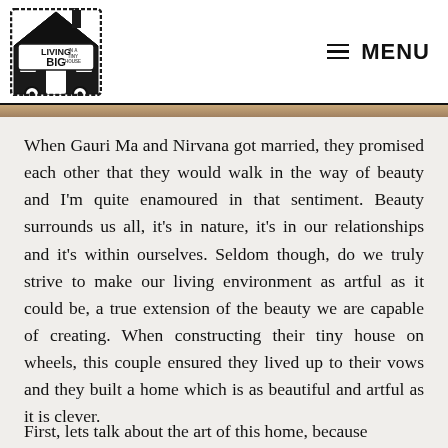Living Big in a Tiny House — MENU
When Gauri Ma and Nirvana got married, they promised each other that they would walk in the way of beauty and I'm quite enamoured in that sentiment. Beauty surrounds us all, it's in nature, it's in our relationships and it's within ourselves. Seldom though, do we truly strive to make our living environment as artful as it could be, a true extension of the beauty we are capable of creating. When constructing their tiny house on wheels, this couple ensured they lived up to their vows and they built a home which is as beautiful and artful as it is clever.
First, lets talk about the art of this home, because